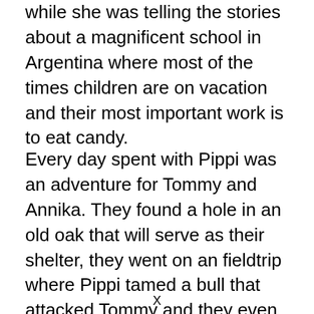while she was telling the stories about a magnificent school in Argentina where most of the times children are on vacation and their most important work is to eat candy.
Every day spent with Pippi was an adventure for Tommy and Annika. They found a hole in an old oak that will serve as their shelter, they went on an fieldtrip where Pippi tamed a bull that attacked Tommy and they even saw a circus show. Pippi couldn't stay seated for a second so she had to participate in every act. The visitors were loving her and the manager was furious.
X